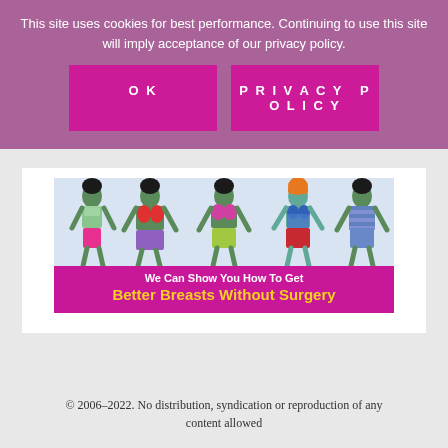This site uses cookies for best performance. Continuing to use this site will imply acceptance of our privacy policy.
OK
PRIVACY POLICY
[Figure (illustration): Five illustrated female figures in swimwear/lingerie in various body types, with text: We Can Show You How To Get Better Breasts Without Surgery]
© 2006–2022. No distribution, syndication or reproduction of any content allowed